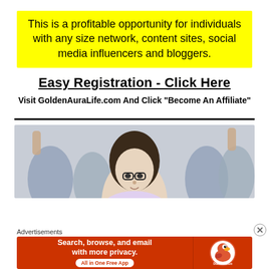This is a profitable opportunity for individuals with any size network, content sites, social media influencers and bloggers.
Easy Registration - Click Here
Visit GoldenAuraLife.com And Click “Become An Affiliate”
[Figure (photo): Group of people with raised fists celebrating, woman with glasses in foreground]
Advertisements
[Figure (infographic): DuckDuckGo advertisement banner: Search, browse, and email with more privacy. All in One Free App.]